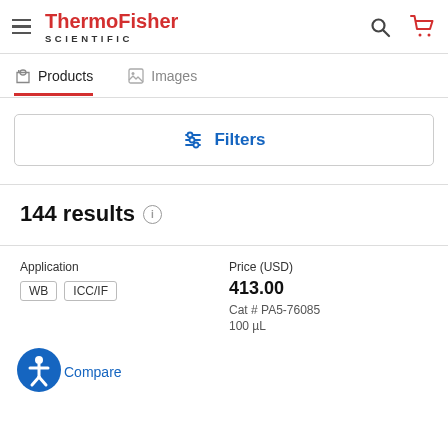[Figure (logo): ThermoFisher Scientific logo with hamburger menu, search icon, and cart icon]
Products   Images
[Figure (screenshot): Filters button with sliders icon]
144 results
Application
WB   ICC/IF
Price (USD)
413.00
Cat # PA5-76085
100 µL
Compare